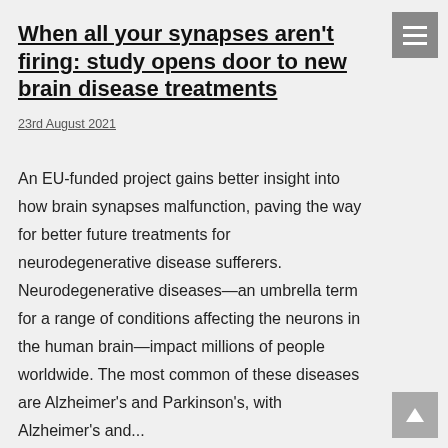When all your synapses aren't firing: study opens door to new brain disease treatments
23rd August 2021
An EU-funded project gains better insight into how brain synapses malfunction, paving the way for better future treatments for neurodegenerative disease sufferers. Neurodegenerative diseases—an umbrella term for a range of conditions affecting the neurons in the human brain—impact millions of people worldwide. The most common of these diseases are Alzheimer's and Parkinson's, with Alzheimer's and...